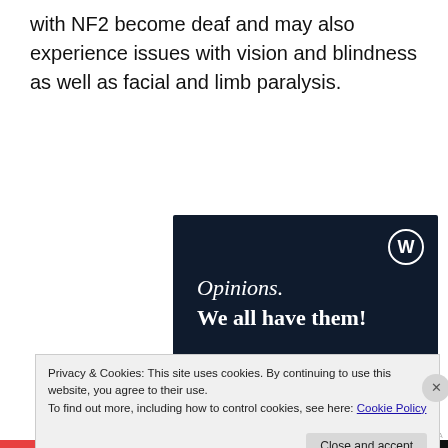with NF2 become deaf and may also experience issues with vision and blindness as well as facial and limb paralysis.
[Figure (screenshot): WordPress advertisement banner with dark navy background showing 'Opinions. We all have them!' text with WordPress logo in top right corner, a pink button at bottom left, and a light circle at bottom right.]
Privacy & Cookies: This site uses cookies. By continuing to use this website, you agree to their use.
To find out more, including how to control cookies, see here: Cookie Policy
Close and accept